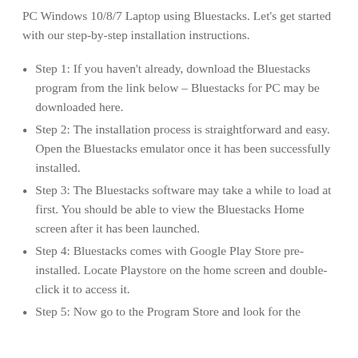PC Windows 10/8/7 Laptop using Bluestacks. Let's get started with our step-by-step installation instructions.
Step 1: If you haven't already, download the Bluestacks program from the link below – Bluestacks for PC may be downloaded here.
Step 2: The installation process is straightforward and easy. Open the Bluestacks emulator once it has been successfully installed.
Step 3: The Bluestacks software may take a while to load at first. You should be able to view the Bluestacks Home screen after it has been launched.
Step 4: Bluestacks comes with Google Play Store pre-installed. Locate Playstore on the home screen and double-click it to access it.
Step 5: Now go to the Program Store and look for the